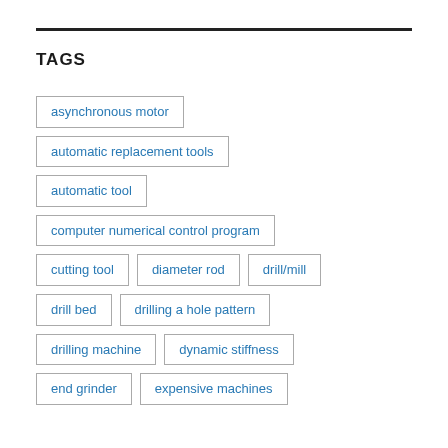TAGS
asynchronous motor
automatic replacement tools
automatic tool
computer numerical control program
cutting tool
diameter rod
drill/mill
drill bed
drilling a hole pattern
drilling machine
dynamic stiffness
end grinder
expensive machines